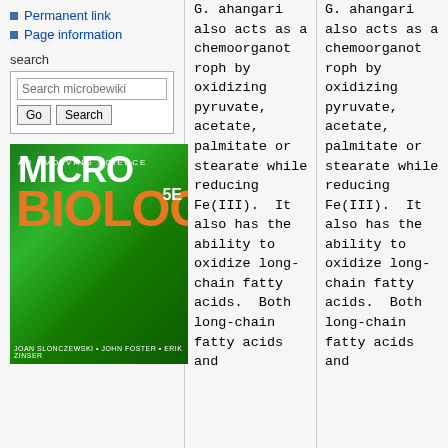Permanent link
Page information
search
[Figure (illustration): Cover of Microbiology: An Evolving Science, 5th edition textbook by Joan Slonczewski, John Foster, Erik Zinser. Green microscopy image background with orange and white large text.]
G. ahangari also acts as a chemoorganotroph by oxidizing pyruvate, acetate, palmitate or stearate while reducing Fe(III). It also has the ability to oxidize long-chain fatty acids. Both long-chain fatty acids and
G. ahangari also acts as a chemoorganotroph by oxidizing pyruvate, acetate, palmitate or stearate while reducing Fe(III). It also has the ability to oxidize long-chain fatty acids. Both long-chain fatty acids and